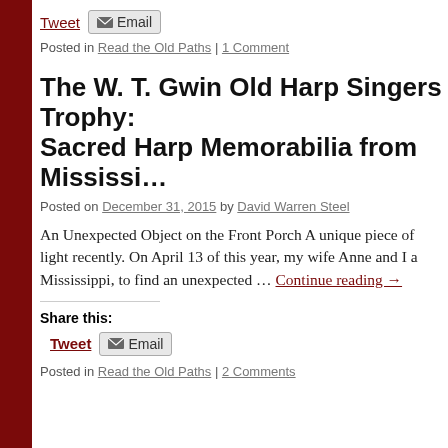Share this:
Tweet  Email
Posted in Read the Old Paths | 1 Comment
The W. T. Gwin Old Harp Singers Trophy: Sacred Harp Memorabilia from Mississippi
Posted on December 31, 2015 by David Warren Steel
An Unexpected Object on the Front Porch A unique piece of light recently. On April 13 of this year, my wife Anne and I a Mississippi, to find an unexpected … Continue reading →
Share this:
Tweet  Email
Posted in Read the Old Paths | 2 Comments